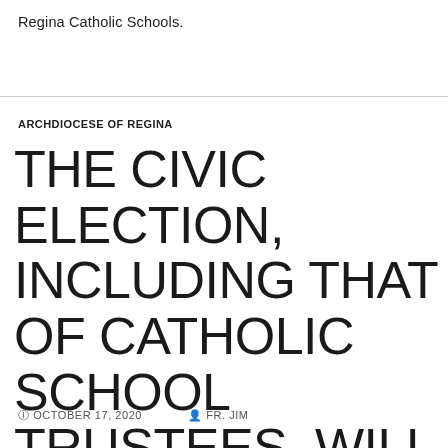Regina Catholic Schools.
ARCHDIOCESE OF REGINA
THE CIVIC ELECTION, INCLUDING THAT OF CATHOLIC SCHOOL TRUSTEES, WILL TAKE PLACE ON NOVEMBER 9TH THIS YEAR
OCTOBER 17, 2020  FR. JIM